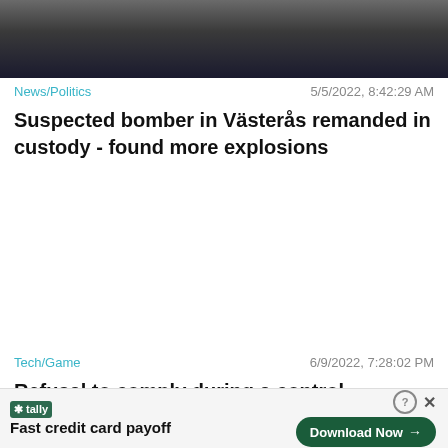[Figure (photo): Dark blurred image at top of page, appears to be a night or dark scene]
News/Politics    5/5/2022, 8:42:29 AM
Suspected bomber in Västerås remanded in custody - found more explosions
Tech/Game    6/9/2022, 7:28:02 PM
Refusal to comply during a control in
Fast credit card payoff
Download Now →